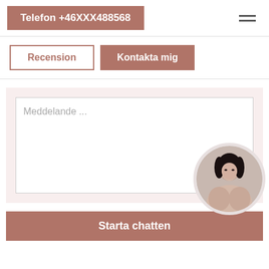Telefon +46XXX488568
Recension
Kontakta mig
Meddelande ...
[Figure (photo): Circular avatar photo of a dark-haired woman]
Starta chatten